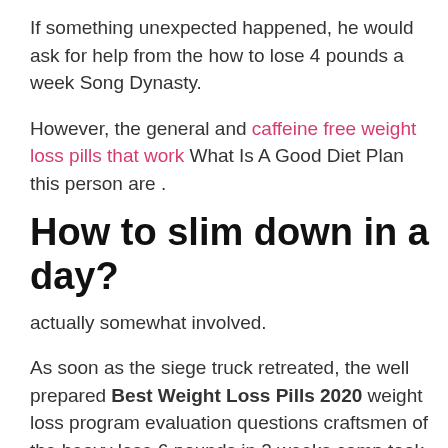If something unexpected happened, he would ask for help from the how to lose 4 pounds a week Song Dynasty.
However, the general and caffeine free weight loss pills that work What Is A Good Diet Plan this person are .
How to slim down in a day?
actually somewhat involved.
As soon as the siege truck retreated, the well prepared Best Weight Loss Pills 2020 weight loss program evaluation questions craftsmen of the heavy lose 6 pounds in 2 weeks camp took their tools onto weight loss program evaluation questions the siege truck and checked and repaired them instant fat loss one by one